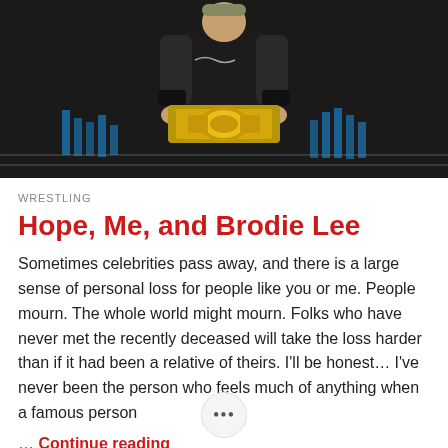[Figure (photo): A wrestler (Brodie Lee) holding a championship belt, standing in a wrestling ring with dark background and blue lighting elements visible]
WRESTLING
Hope, Me, and Brodie Lee
Sometimes celebrities pass away, and there is a large sense of personal loss for people like you or me. People mourn. The whole world might mourn. Folks who have never met the recently deceased will take the loss harder than if it had been a relative of theirs. I'll be honest… I've never been the person who feels much of anything when a famous person
… Continue reading
NOT BAMF / DECEMBER 30, 2020 / 2 COMMENTS